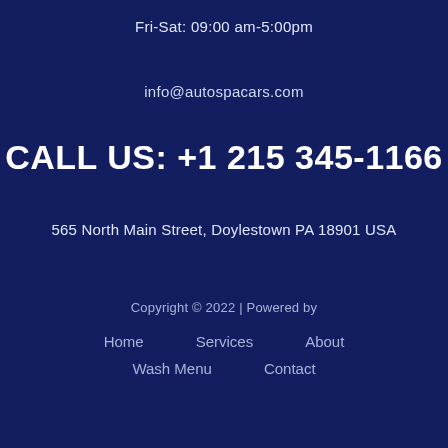Fri-Sat: 09:00 am-5:00pm
info@autospacars.com
CALL US: +1 215 345-1166
565 North Main Street, Doylestown PA 18901 USA
Copyright © 2022 | Powered by
Home
Services
About
Wash Menu
Contact